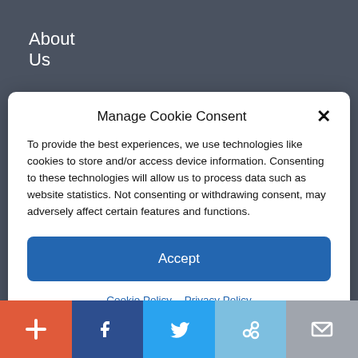About Us
Our Authors
Manage Cookie Consent
To provide the best experiences, we use technologies like cookies to store and/or access device information. Consenting to these technologies will allow us to process data such as website statistics. Not consenting or withdrawing consent, may adversely affect certain features and functions.
Accept
Cookie Policy   Privacy Policy
Privacy Policy
[Figure (infographic): Social sharing bar with five buttons: red plus, dark blue Facebook, light blue Twitter, light blue chain/link, grey email envelope]